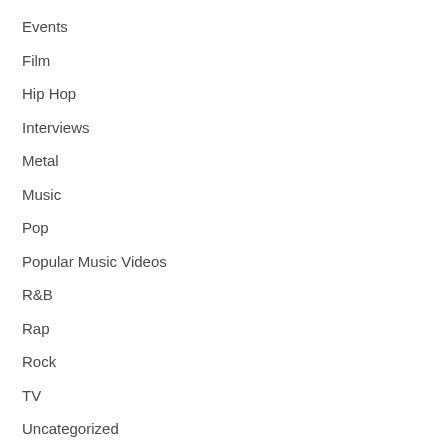Events
Film
Hip Hop
Interviews
Metal
Music
Pop
Popular Music Videos
R&B
Rap
Rock
TV
Uncategorized